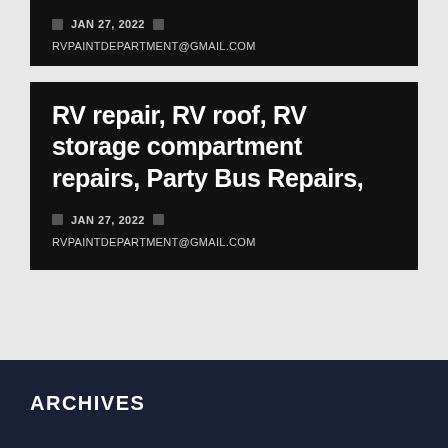JAN 27, 2022
RVPAINTDEPARTMENT@GMAIL.COM
RV repair, RV roof, RV storage compartment repairs, Party Bus Repairs,
JAN 27, 2022
RVPAINTDEPARTMENT@GMAIL.COM
ARCHIVES